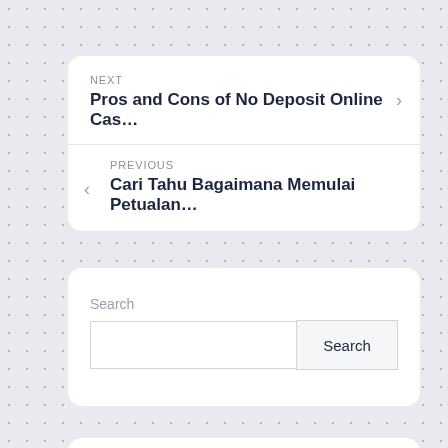NEXT
Pros and Cons of No Deposit Online Cas…
PREVIOUS
Cari Tahu Bagaimana Memulai Petualan…
Search
Search
Recent Posts
Progression Betting
Financing at Casino Internet gambling
There are usually various forms of jackpot feature…